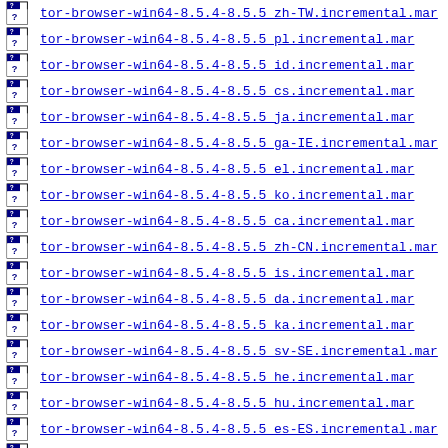tor-browser-win64-8.5.4-8.5.5 zh-TW.incremental.mar
tor-browser-win64-8.5.4-8.5.5 pl.incremental.mar
tor-browser-win64-8.5.4-8.5.5 id.incremental.mar
tor-browser-win64-8.5.4-8.5.5 cs.incremental.mar
tor-browser-win64-8.5.4-8.5.5 ja.incremental.mar
tor-browser-win64-8.5.4-8.5.5 ga-IE.incremental.mar
tor-browser-win64-8.5.4-8.5.5 el.incremental.mar
tor-browser-win64-8.5.4-8.5.5 ko.incremental.mar
tor-browser-win64-8.5.4-8.5.5 ca.incremental.mar
tor-browser-win64-8.5.4-8.5.5 zh-CN.incremental.mar
tor-browser-win64-8.5.4-8.5.5 is.incremental.mar
tor-browser-win64-8.5.4-8.5.5 da.incremental.mar
tor-browser-win64-8.5.4-8.5.5 ka.incremental.mar
tor-browser-win64-8.5.4-8.5.5 sv-SE.incremental.mar
tor-browser-win64-8.5.4-8.5.5 he.incremental.mar
tor-browser-win64-8.5.4-8.5.5 hu.incremental.mar
tor-browser-win64-8.5.4-8.5.5 es-ES.incremental.mar
tor-browser-win64-8.5.4-8.5.5 pt-BR.incremental.mar